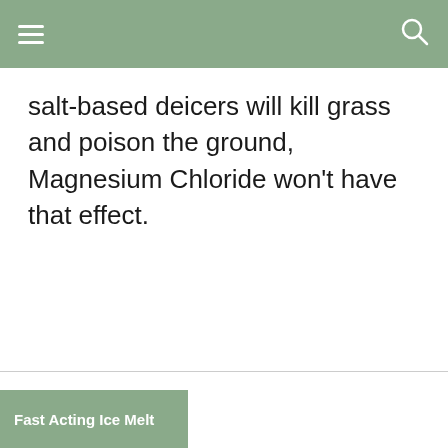salt-based deicers will kill grass and poison the ground, Magnesium Chloride won’t have that effect.
Fast Acting Ice Melt